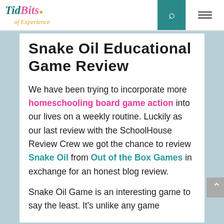TidBits of Experience — navigation header with search and menu icons
Snake Oil Educational Game Review
We have been trying to incorporate more homeschooling board game action into our lives on a weekly routine. Luckily as our last review with the SchoolHouse Review Crew we got the chance to review Snake Oil from Out of the Box Games in exchange for an honest blog review.
Snake Oil Game is an interesting game to say the least. It's unlike any game